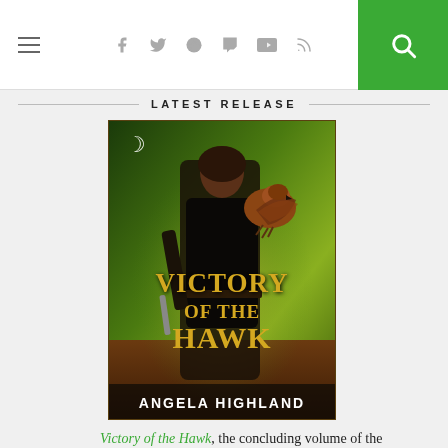≡ [social icons: facebook, twitter, pinterest, tumblr, soundcloud, rss] [search button]
LATEST RELEASE
[Figure (illustration): Book cover for 'Victory of the Hawk' by Angela Highland. Shows a dark-haired man in medieval clothing holding a sword, with a hawk/eagle on his shoulder, against a green and golden background. Publisher logo (Carina Press crescent) in top left.]
Victory of the Hawk, the concluding volume of the Rebels of Adalonia trilogy,